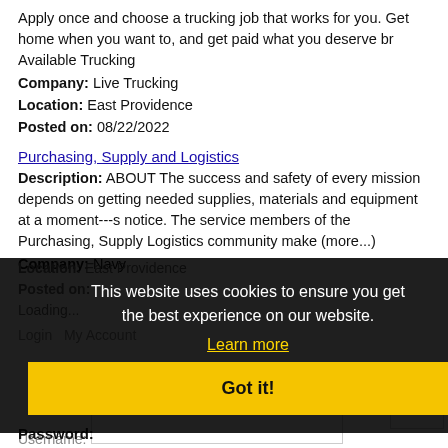Apply once and choose a trucking job that works for you. Get home when you want to, and get paid what you deserve br Available Trucking
Company: Live Trucking
Location: East Providence
Posted on: 08/22/2022
Purchasing, Supply and Logistics
Description: ABOUT The success and safety of every mission depends on getting needed supplies, materials and equipment at a moment---s notice. The service members of the Purchasing, Supply Logistics community make (more...)
Company: Navy
Location: East Providence
Posted on:
Loading...
This website uses cookies to ensure you get the best experience on our website.
Learn more
Login My Account
Got it!
Username:
Password: